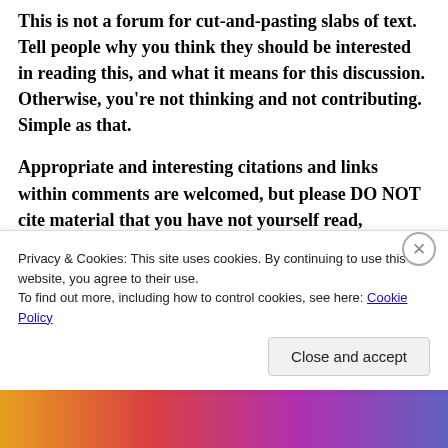This is not a forum for cut-and-pasting slabs of text. Tell people why you think they should be interested in reading this, and what it means for this discussion. Otherwise, you're not thinking and not contributing. Simple as that.
Appropriate and interesting citations and links within comments are welcomed, but please DO NOT cite material that you have not yourself read, digested and understood.
As a general rule, please introduce any and
Privacy & Cookies: This site uses cookies. By continuing to use this website, you agree to their use.
To find out more, including how to control cookies, see here: Cookie Policy